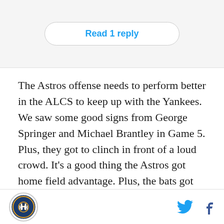Read 1 reply
The Astros offense needs to perform better in the ALCS to keep up with the Yankees. We saw some good signs from George Springer and Michael Brantley in Game 5. Plus, they got to clinch in front of a loud crowd. It's a good thing the Astros got home field advantage. Plus, the bats got hot at the right time while the Yankees have been sitting around waiting.
[Figure (logo): Crawfish Boxes / SB Nation circular logo with 'H' letters]
[Figure (illustration): Twitter bird icon and Facebook 'f' icon social sharing buttons]